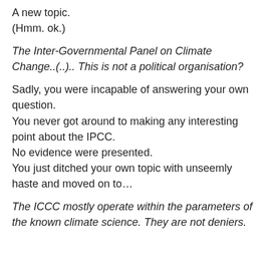A new topic.
(Hmm. ok.)
The Inter-Governmental Panel on Climate Change..(.).. This is not a political organisation?
Sadly, you were incapable of answering your own question.
You never got around to making any interesting point about the IPCC.
No evidence were presented.
You just ditched your own topic with unseemly haste and moved on to…
The ICCC mostly operate within the parameters of the known climate science. They are not deniers.